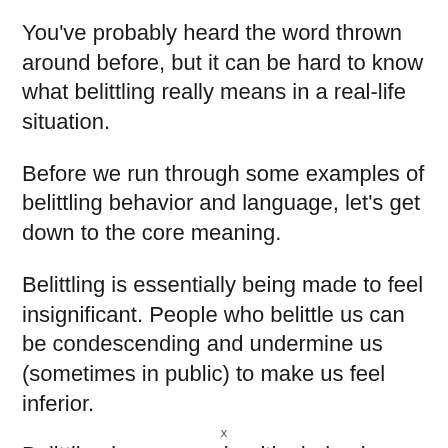You've probably heard the word thrown around before, but it can be hard to know what belittling really means in a real-life situation.
Before we run through some examples of belittling behavior and language, let's get down to the core meaning.
Belittling is essentially being made to feel insignificant. People who belittle us can be condescending and undermine us (sometimes in public) to make us feel inferior.
Belittling is a very unhealthy behavior, but it can start as seemingly trivial small digs and little put
x